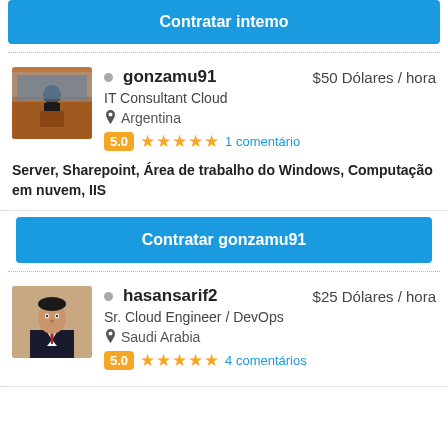Contratar intemo
[Figure (photo): Profile photo of gonzamu91, a person at a podium]
gonzamu91  $50 Dólares / hora
IT Consultant Cloud
Argentina
5.0 ★★★★★ 1 comentário
Server, Sharepoint, Área de trabalho do Windows, Computação em nuvem, IIS
Contratar gonzamu91
[Figure (photo): Profile photo of hasansarif2, a man in a suit]
hasansarif2  $25 Dólares / hora
Sr. Cloud Engineer / DevOps
Saudi Arabia
5.0 ★★★★★ 4 comentários